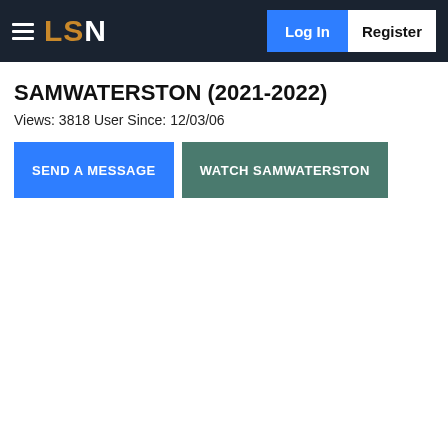LSN | Log In | Register
SAMWATERSTON (2021-2022)
Views: 3818 User Since: 12/03/06
SEND A MESSAGE
WATCH SAMWATERSTON